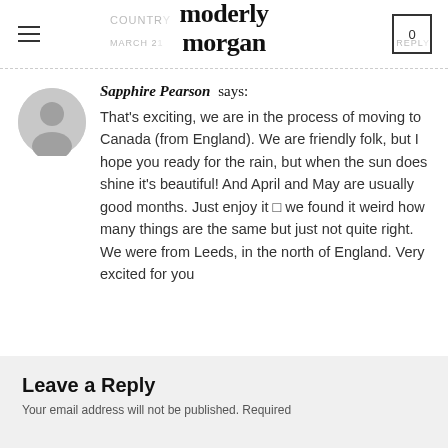moderly morgan
Sapphire Pearson says: That's exciting, we are in the process of moving to Canada (from England). We are friendly folk, but I hope you ready for the rain, but when the sun does shine it's beautiful! And April and May are usually good months. Just enjoy it 🙂 we found it weird how many things are the same but just not quite right. We were from Leeds, in the north of England. Very excited for you
MARCH 21, 2017 AT 9:17 PM
REPLY
Leave a Reply
Your email address will not be published. Required